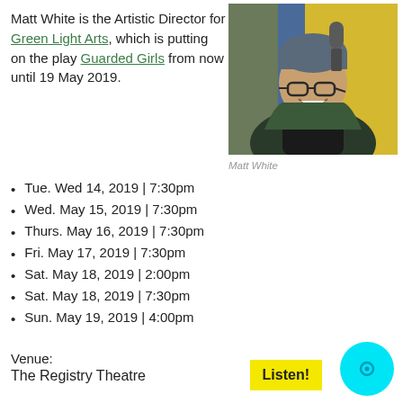Matt White is the Artistic Director for Green Light Arts, which is putting on the play Guarded Girls from now until 19 May 2019.
[Figure (photo): Photo of Matt White, a man wearing a blue beanie hat and glasses, smiling in front of a microphone, wearing a green jacket and black turtleneck.]
Matt White
Tue. Wed 14, 2019 | 7:30pm
Wed. May 15, 2019 | 7:30pm
Thurs. May 16, 2019 | 7:30pm
Fri. May 17, 2019 | 7:30pm
Sat. May 18, 2019 | 2:00pm
Sat. May 18, 2019 | 7:30pm
Sun. May 19, 2019 | 4:00pm
Venue:
The Registry Theatre